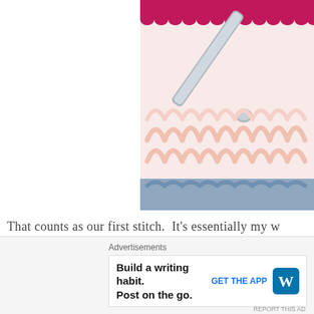[Figure (photo): Close-up photo of crochet work showing pink yarn stitches with a silver crochet hook, red border at top, and blue yarn at bottom]
That counts as our first stitch.  It's essentially my wa- skipping a stitch entirely, as some books and patter-
[Figure (other): Close button (X in circle) overlay on text]
Advertisements
Build a writing habit. Post on the go.
GET THE APP